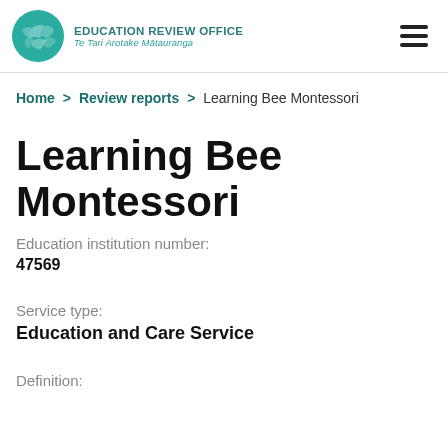[Figure (logo): Education Review Office logo with teal circular emblem and bilingual text 'Education Review Office / Te Tari Arotake Mātauranga']
Home > Review reports > Learning Bee Montessori
Learning Bee Montessori
Education institution number:
47569
Service type:
Education and Care Service
Definition: